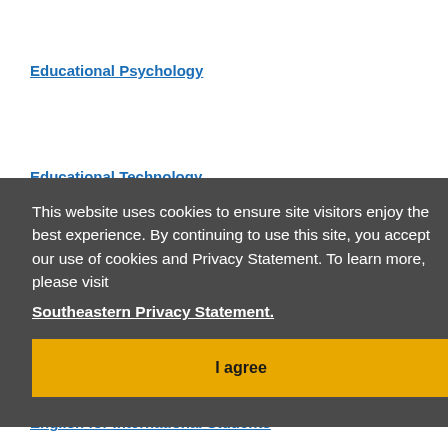Educational Psychology
Educational Technology
This website uses cookies to ensure site visitors enjoy the best experience. By continuing to use this site, you accept our use of cookies and Privacy Statement. To learn more, please visit Southeastern Privacy Statement.
English for International Students